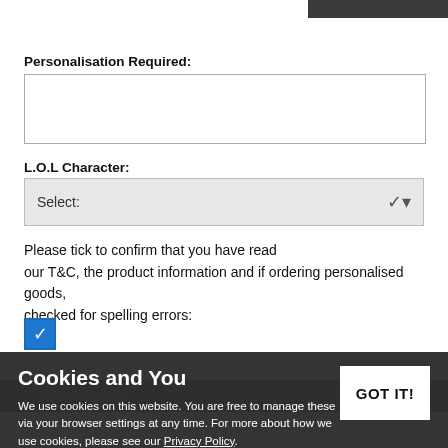Personalisation Required:
L.O.L Character:
Select:
Please tick to confirm that you have read our T&C, the product information and if ordering personalised goods, checked for spelling errors:
[Figure (screenshot): Checked blue checkbox]
Add to Basket:
Share
PRODUCTION INFORMATION
Cookies and You
We use cookies on this website. You are free to manage these via your browser settings at any time. For more about how we use cookies, please see our Privacy Policy.